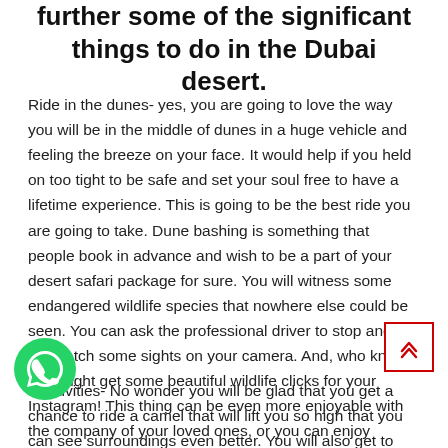further some of the significant things to do in the Dubai desert.
Ride in the dunes- yes, you are going to love the way you will be in the middle of dunes in a huge vehicle and feeling the breeze on your face. It would help if you held on too tight to be safe and set your soul free to have a lifetime experience. This is going to be the best ride you are going to take. Dune bashing is something that people book in advance and wish to be a part of your desert safari package for sure. You will witness some endangered wildlife species that nowhere else could be seen. You can ask the professional driver to stop and let you catch some sights on your camera. And, who knows, you might get some beautiful wildlife clicks for your Instagram! This thing can be even more enjoyable with the company of your loved ones, or you can enjoy nature's friendship.
[Figure (other): Back-to-top button: red-bordered square with double chevron up arrow]
[Figure (logo): WhatsApp green phone icon]
s Activities- No wonder you will be glad that you get a chance to ride a camel that will lift you so high that you can see surroundings even better. You will also get to know the Camels'